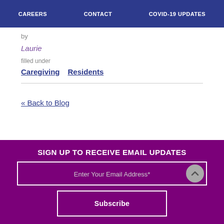CAREERS    CONTACT    COVID-19 UPDATES
by
Laurie
filled under
Caregiving   Residents
« Back to Blog
SIGN UP TO RECEIVE EMAIL UPDATES
Enter Your Email Address*
Subscribe